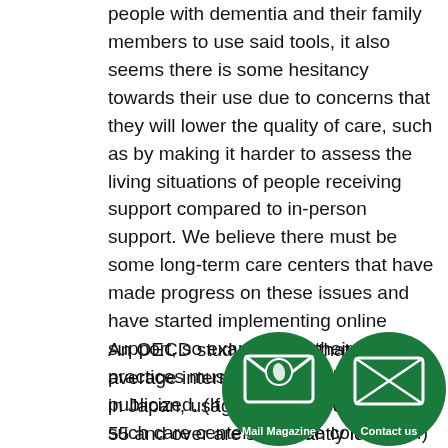people with dementia and their family members to use said tools, it also seems there is some hesitancy towards their use due to concerns that they will lower the quality of care, such as by making it harder to assess the living situations of people receiving support compared to in-person support. We believe there must be some long-term care centers that have made progress on these issues and have started implementing online support, so examples of their best practices must be gathered and publicized. (If readers know of any such care centers, please contact us.)
An OECD study showed that although average internet usage rates are high in Japan, usage rates for people age 55 and over are significantly lower compared to the nine other countries with internet rates 90%. In Japan, internet usage are in the 70% range and the ca
[Figure (illustration): Two overlapping green circular icons at the bottom right. Left circle contains a mail/envelope icon with a leaf logo and label 'Mail Magazine'. Right circle contains an envelope/contact icon and label 'Contact us'.]